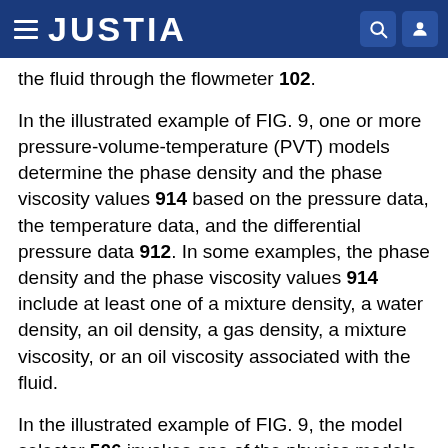JUSTIA
the fluid through the flowmeter 102.
In the illustrated example of FIG. 9, one or more pressure-volume-temperature (PVT) models determine the phase density and the phase viscosity values 914 based on the pressure data, the temperature data, and the differential pressure data 912. In some examples, the phase density and the phase viscosity values 914 include at least one of a mixture density, a water density, an oil density, a gas density, a mixture viscosity, or an oil viscosity associated with the fluid.
In the illustrated example of FIG. 9, the model selector 506 invokes one of the physics models 902 or one of the neural network models 602 based on the input data received at the model selector 504. For example, in response to the model selector 506 receiving the microwave sensor data 904, the model selector 506